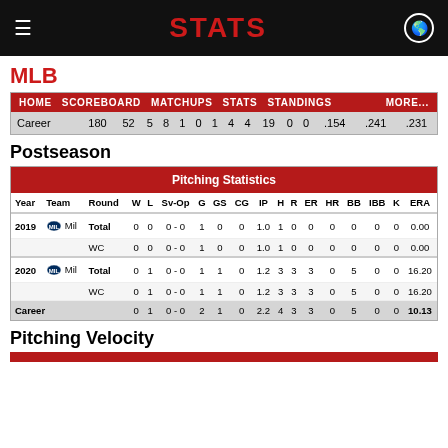STATS
MLB
| Career | 180 | 52 | 5 | 8 | 1 | 0 | 1 | 4 | 4 | 19 | 0 | 0 | .154 | .241 | .231 |
Postseason
| Year | Team | Round | W | L | Sv-Op | G | GS | CG | IP | H | R | ER | HR | BB | IBB | K | ERA |
| --- | --- | --- | --- | --- | --- | --- | --- | --- | --- | --- | --- | --- | --- | --- | --- | --- | --- |
| 2019 | Mil | Total | 0 | 0 | 0 - 0 | 1 | 0 | 0 | 1.0 | 1 | 0 | 0 | 0 | 0 | 0 | 0 | 0.00 |
|  |  | WC | 0 | 0 | 0 - 0 | 1 | 0 | 0 | 1.0 | 1 | 0 | 0 | 0 | 0 | 0 | 0 | 0.00 |
| 2020 | Mil | Total | 0 | 1 | 0 - 0 | 1 | 1 | 0 | 1.2 | 3 | 3 | 3 | 0 | 5 | 0 | 0 | 16.20 |
|  |  | WC | 0 | 1 | 0 - 0 | 1 | 1 | 0 | 1.2 | 3 | 3 | 3 | 0 | 5 | 0 | 0 | 16.20 |
| Career |  |  | 0 | 1 | 0 - 0 | 2 | 1 | 0 | 2.2 | 4 | 3 | 3 | 0 | 5 | 0 | 0 | 10.13 |
Pitching Velocity